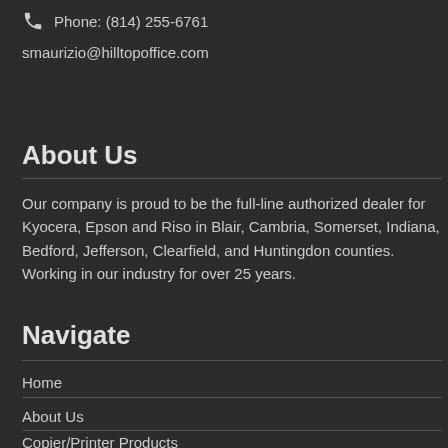Phone: (814) 255-6761
smaurizio@hilltopoffice.com
About Us
Our company is proud to be the full-line authorized dealer for Kyocera, Epson and Riso in Blair, Cambria, Somerset, Indiana, Bedford, Jefferson, Clearfield, and Huntingdon counties. Working in our industry for over 25 years.
Navigate
Home
About Us
Copier/Printer Products